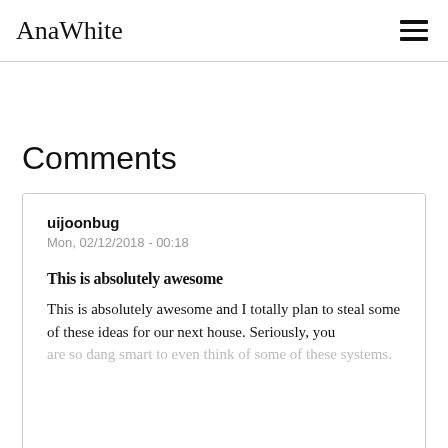AnaWhite
Comments
uijoonbug
Mon, 02/12/2018 - 00:18

This is absolutely awesome

This is absolutely awesome and I totally plan to steal some of these ideas for our next house. Seriously, you are so dang smart to even think of some of these systems.